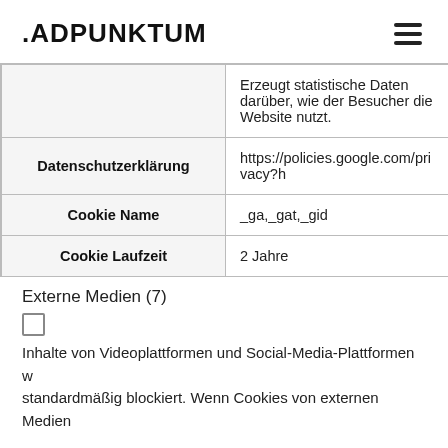.ADPUNKTUM
|  |  |
| --- | --- |
|  | Erzeugt statistische Daten darüber, wie der Besucher die Website nutzt. |
| Datenschutzerklärung | https://policies.google.com/privacy?h... |
| Cookie Name | _ga,_gat,_gid |
| Cookie Laufzeit | 2 Jahre |
Externe Medien (7)
Inhalte von Videoplattformen und Social-Media-Plattformen werden standardmäßig blockiert. Wenn Cookies von externen Medien...